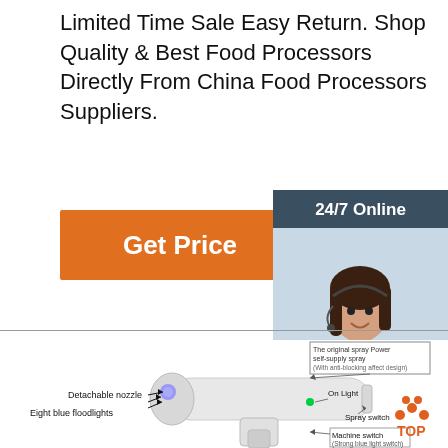Limited Time Sale Easy Return. Shop Quality & Best Food Processors Directly From China Food Processors Suppliers.
[Figure (illustration): Orange 'Get Price' button]
[Figure (photo): Customer service representative with headset and '24/7 Online' header, 'Click here for free chat!' text and orange 'QUOTATION' button in dark teal sidebar]
[Figure (engineering-diagram): Handheld spray device diagram with labeled parts: Detachable nozzle, Eight blue floodlights, The original spray Power self-supply spray (With anti-blocking affect design), On Light, Spray switch, Machine switch (Strong blue light switch)]